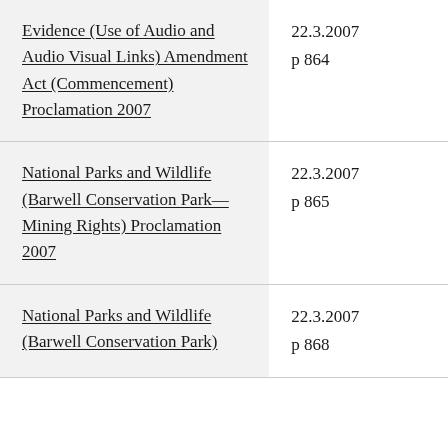| Evidence (Use of Audio and Audio Visual Links) Amendment Act (Commencement) Proclamation 2007 | 22.3.2007
p 864 |
| National Parks and Wildlife (Barwell Conservation Park—Mining Rights) Proclamation 2007 | 22.3.2007
p 865 |
| National Parks and Wildlife (Barwell Conservation Park) | 22.3.2007
p 868 |